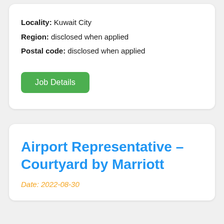Locality: Kuwait City
Region: disclosed when applied
Postal code: disclosed when applied
Job Details
Airport Representative – Courtyard by Marriott
Date: 2022-08-30